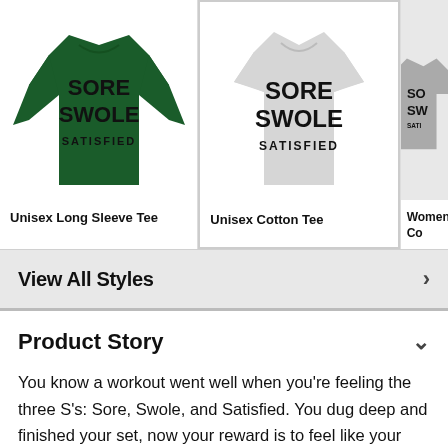[Figure (photo): Dark green long sleeve tee with 'SORE SWOLE SATISFIED' text]
Unisex Long Sleeve Tee
[Figure (photo): Light grey cotton tee with 'SORE SWOLE SATISFIED' text, selected/highlighted]
Unisex Cotton Tee
[Figure (photo): Grey Women's Co tee (partially visible) with 'SORE SWOLE SATISFIED' text]
Women's Co
View All Styles
Product Story
You know a workout went well when you're feeling the three S's: Sore, Swole, and Satisfied. You dug deep and finished your set, now your reward is to feel like your limbs are literally about to fall off, for like the next 2 to 4 days. Regardless, you did well. Before you hit the gym for your next set, grab this inspirational fitness shirt and finish your workout with some awesome gym inspiration